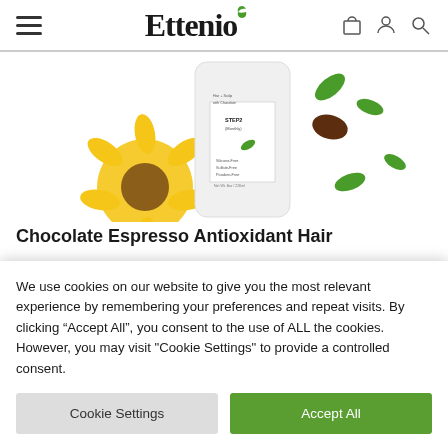Ettenio
[Figure (photo): Hair care product tube (Chocolate Espresso Antioxidant Hair product) with sunflower, green leaves, and cocoa pod decorative elements on white background]
Chocolate Espresso Antioxidant Hair
We use cookies on our website to give you the most relevant experience by remembering your preferences and repeat visits. By clicking “Accept All”, you consent to the use of ALL the cookies. However, you may visit “Cookie Settings” to provide a controlled consent.
Cookie Settings | Accept All